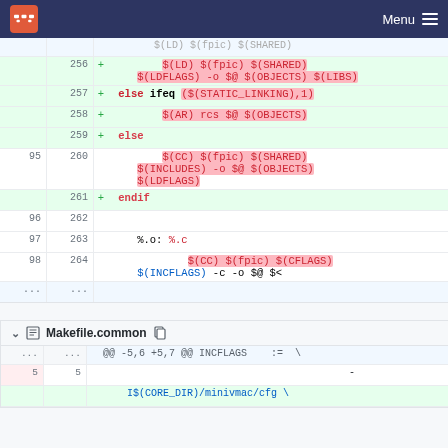Menu
[Figure (screenshot): Git diff view showing Makefile changes. Lines 256-264 with added/context lines. Added lines include $(LD) $(fpic) $(SHARED) $(LDFLAGS) -o $@ $(OBJECTS) $(LIBS), else ifeq ($(STATIC_LINKING),1), $(AR) rcs $@ $(OBJECTS), else, endif. Context lines show $(CC) $(fpic) $(SHARED) $(INCLUDES) -o $@ $(OBJECTS) $(LDFLAGS), %.o: %.c, $(CC) $(fpic) $(CFLAGS) $(INCFLAGS) -c -o $@ $<]
Makefile.common
@@ -5,6 +5,7 @@ INCFLAGS    :=  \ 5  5  - I$(CORE_DIR)/minivmac/cfg \